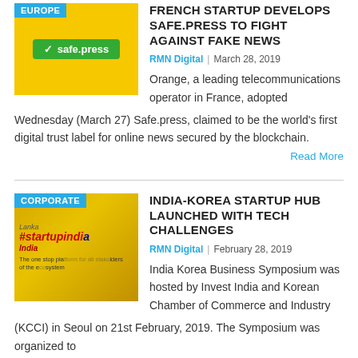[Figure (photo): Yellow background image with safe.press logo and EUROPE tag]
FRENCH STARTUP DEVELOPS SAFE.PRESS TO FIGHT AGAINST FAKE NEWS
RMN Digital | March 28, 2019
Orange, a leading telecommunications operator in France, adopted Wednesday (March 27) Safe.press, claimed to be the world's first digital trust label for online news secured by the blockchain.
Read More
[Figure (photo): Startup India event photo with people at conference with CORPORATE tag]
INDIA-KOREA STARTUP HUB LAUNCHED WITH TECH CHALLENGES
RMN Digital | February 28, 2019
India Korea Business Symposium was hosted by Invest India and Korean Chamber of Commerce and Industry (KCCI) in Seoul on 21st February, 2019. The Symposium was organized to
Read More